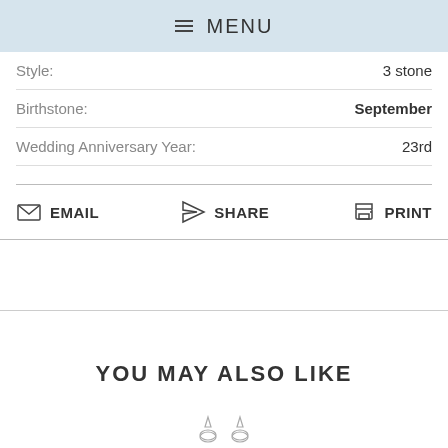≡ MENU
| Style: | 3 stone |
| Birthstone: | September |
| Wedding Anniversary Year: | 23rd |
EMAIL  SHARE  PRINT
YOU MAY ALSO LIKE